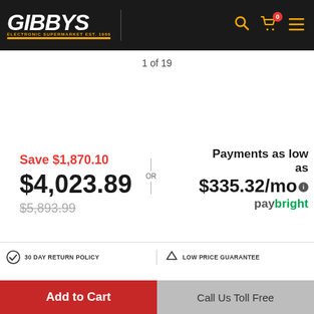[Figure (screenshot): Gibby's Electronic Supermarket logo on black header bar with search, cart (badge 0), and menu icons in yellow/orange]
1 of 19
Save $1,870.10
$4,023.89
$5,893.99
OR
Payments as low as $335.32/mo paybright
30 DAY RETURN POLICY
LOW PRICE GUARANTEE
Add to Cart
Call Us Toll Free